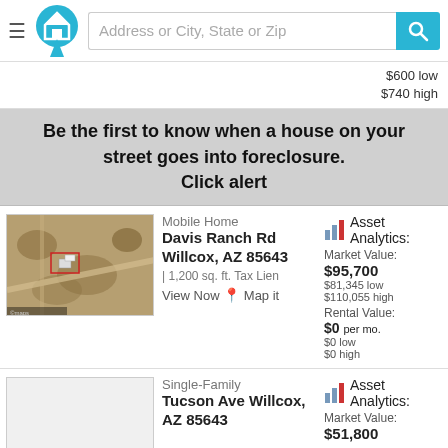Address or City, State or Zip
$600 low
$740 high
Be the first to know when a house on your street goes into foreclosure.
Click alert
[Figure (photo): Aerial satellite view of property with small structures visible]
Mobile Home
Davis Ranch Rd Willcox, AZ 85643
| 1,200 sq. ft. Tax Lien
View Now Map it
Asset Analytics:
Market Value: $95,700
$81,345 low
$110,055 high
Rental Value: $0 per mo.
$0 low
$0 high
[Figure (photo): Blank placeholder property image]
Single-Family
Tucson Ave Willcox, AZ 85643
Asset Analytics:
Market Value: $51,800